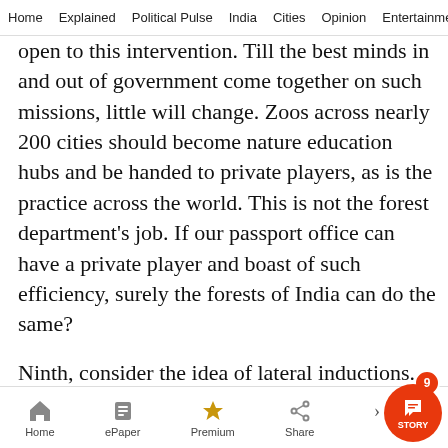Home  Explained  Political Pulse  India  Cities  Opinion  Entertainment
open to this intervention. Till the best minds in and out of government come together on such missions, little will change. Zoos across nearly 200 cities should become nature education hubs and be handed to private players, as is the practice across the world. This is not the forest department's job. If our passport office can have a private player and boast of such efficiency, surely the forests of India can do the same?
Ninth, consider the idea of lateral inductions. This step is vital for creative governance but everyone shies away from it. We need to bring in the tal to reform systems of governance that are
Home  ePaper  Premium  Share  STORY